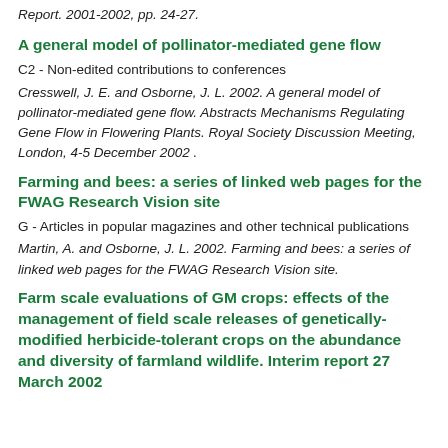Report. 2001-2002, pp. 24-27.
A general model of pollinator-mediated gene flow
C2 - Non-edited contributions to conferences
Cresswell, J. E. and Osborne, J. L. 2002. A general model of pollinator-mediated gene flow. Abstracts Mechanisms Regulating Gene Flow in Flowering Plants. Royal Society Discussion Meeting, London, 4-5 December 2002 .
Farming and bees: a series of linked web pages for the FWAG Research Vision site
G - Articles in popular magazines and other technical publications
Martin, A. and Osborne, J. L. 2002. Farming and bees: a series of linked web pages for the FWAG Research Vision site.
Farm scale evaluations of GM crops: effects of the management of field scale releases of genetically-modified herbicide-tolerant crops on the abundance and diversity of farmland wildlife. Interim report 27 March 2002